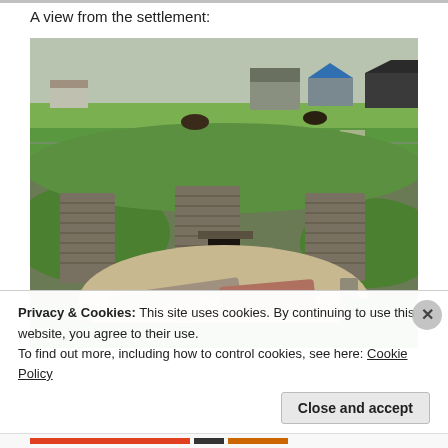A view from the settlement:
[Figure (photo): Archaeological site showing ancient stone dwelling structures (likely Skara Brae, Orkney) with dry-stone walls forming circular rooms, sandy floor area with stone slabs, surrounded by grass mounds. In the background, farm buildings and horses grazing on flat green fields under an overcast sky.]
Privacy & Cookies: This site uses cookies. By continuing to use this website, you agree to their use.
To find out more, including how to control cookies, see here: Cookie Policy
Close and accept